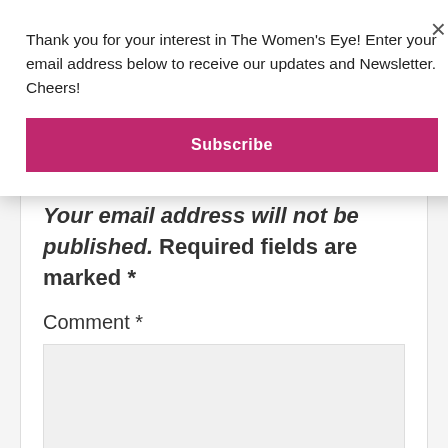Thank you for your interest in The Women's Eye! Enter your email address below to receive our updates and Newsletter. Cheers!
Subscribe
Your email address will not be published. Required fields are marked *
Comment *